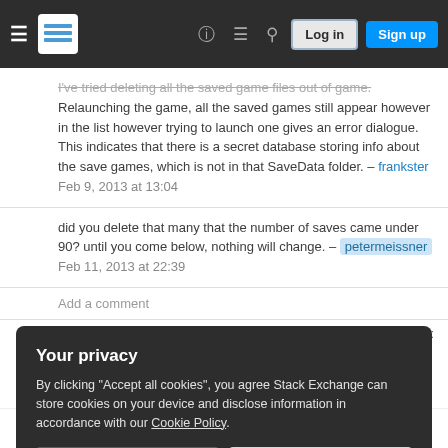Navigation bar with hamburger menu, Stack Exchange logo, help, chat, search icons, Log in and Sign up buttons
I've tried deleting all the saved game files out of game. Relaunching the game, all the saved games still appear however in the list however trying to launch one gives an error dialogue. This indicates that there is a secret database storing info about the save games, which is not in that SaveData folder. – frankster Feb 9, 2013 at 13:04
did you delete that many that the number of saves came under 90? until you come below, nothing will change. – petermeissner Feb 11, 2013 at 22:39
Add a comment
Sorted by:
Your privacy
By clicking "Accept all cookies", you agree Stack Exchange can store cookies on your device and disclose information in accordance with our Cookie Policy.
Accept all cookies
Customize settings
Xcom seems to have problems handling to many